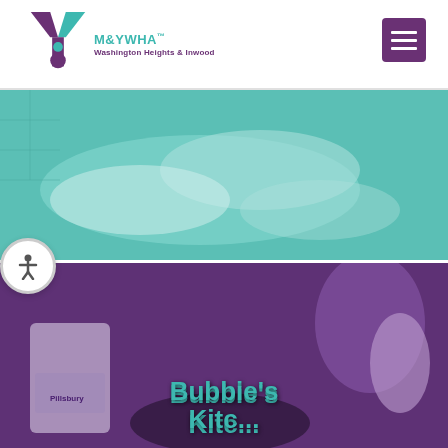[Figure (logo): M&YWHA Washington Heights & Inwood organization logo with teal and purple Y figure]
[Figure (other): Teal-tinted photo of fabric or towels in a sink or bathtub]
[Figure (photo): Purple-tinted photo of people cooking with Pillsbury flour and other ingredients, with text overlay reading Bubbie's Kitchen]
Bubbie's Kitchen